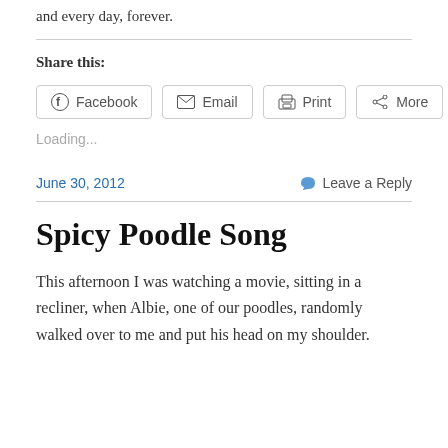and every day, forever.
Share this:
[Figure (other): Social sharing buttons: Facebook, Email, Print, More]
Loading...
June 30, 2012
Leave a Reply
Spicy Poodle Song
This afternoon I was watching a movie, sitting in a recliner, when Albie, one of our poodles, randomly walked over to me and put his head on my shoulder.